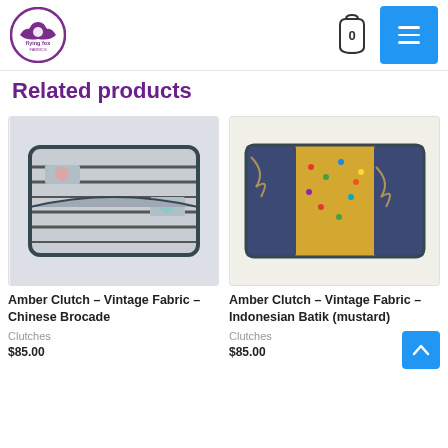Flying Fox Fabrics – navigation bar with logo, cart (0), and menu
markets, introducing our customers to their bags and purses...
Related products
[Figure (photo): Amber Clutch – Vintage Fabric – Chinese Brocade product photo showing a grey striped and floral patterned clutch wallet]
Amber Clutch – Vintage Fabric – Chinese Brocade
Clutches
$85.00
[Figure (photo): Amber Clutch – Vintage Fabric – Indonesian Batik (mustard) product photo showing a gold/mustard and dark blue batik patterned clutch wallet]
Amber Clutch – Vintage Fabric – Indonesian Batik (mustard)
Clutches
$85.00